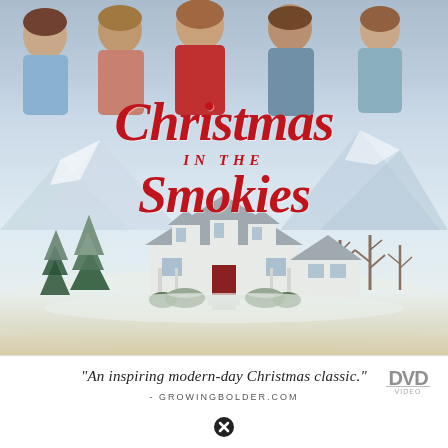[Figure (illustration): DVD cover for 'Christmas in the Smokies'. Top portion shows group of actors (men and women in casual flannel and plaid shirts). Middle shows stylized red cursive title text 'Christmas in the Smokies'. Background shows a snowy mountain landscape with a white farmhouse with wraparound porch, snow-covered pine trees, and bare winter trees. Bottom white strip contains a quote and DVD logo.]
Christmas in the Smokies
"An inspiring modern-day Christmas classic."
- GROWINGBOLDER.COM